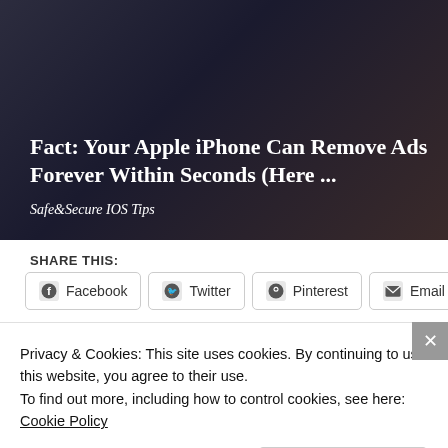[Figure (photo): Dark background photo of a car interior/dashboard area with a white text overlay showing article title and source name.]
Fact: Your Apple iPhone Can Remove Ads Forever Within Seconds (Here ...
Safe&Secure IOS Tips
SHARE THIS:
Facebook  Twitter  Pinterest  Email
Loading...
Favorite Books of 2017
December 26, 2017
Blood Brothers Discussion
March 29, 2017
Privacy & Cookies: This site uses cookies. By continuing to use this website, you agree to their use.
To find out more, including how to control cookies, see here: Cookie Policy
Close and accept